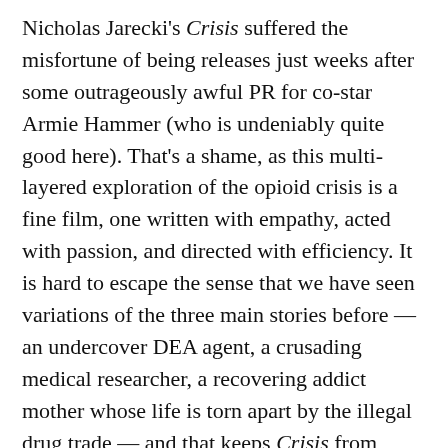Nicholas Jarecki's Crisis suffered the misfortune of being releases just weeks after some outrageously awful PR for co-star Armie Hammer (who is undeniably quite good here). That's a shame, as this multi-layered exploration of the opioid crisis is a fine film, one written with empathy, acted with passion, and directed with efficiency. It is hard to escape the sense that we have seen variations of the three main stories before — an undercover DEA agent, a crusading medical researcher, a recovering addict mother whose life is torn apart by the illegal drug trade — and that keeps Crisis from greatness. However, the film deserves to be seen. The strongest story, by far, is centered on a drug researcher and college professor played by Gary Oldman. Upon finding that a soon-to-be-approved wonder drug is addictive, he faces a moral dilemma, one that could cost him his livelihood. There is a freshness to this particular tale; it is not often we've seen the ethics of big-money scientific research or the ambiguity of academic tenure onscreen. I could not help but think that Crisis could have made an appropriately sprawling streaming series